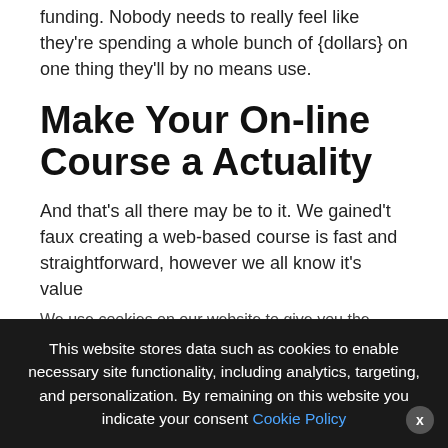funding. Nobody needs to really feel like they're spending a whole bunch of {dollars} on one thing they'll by no means use.
Make Your On-line Course a Actuality
And that's all there may be to it. We gained't faux creating a web-based course is fast and straightforward, however we all know it's value
We use cookies on our website to give you the most relevant experience by remembering your preferences and repeat visits. By clicking "Accept All", you consent to the use of ALL the cookies. However, you may visit "Cookie Settings" to provide a controlled consent
This website stores data such as cookies to enable necessary site functionality, including analytics, targeting, and personalization. By remaining on this website you indicate your consent Cookie Policy